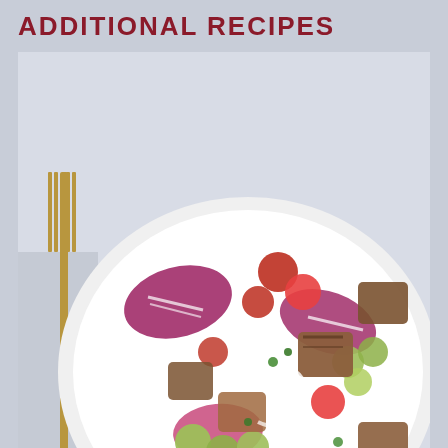ADDITIONAL RECIPES
[Figure (photo): A plate of Panzanella salad with grapes, radicchio, tomatoes, bread cubes, and cheese on a white plate, with a gold fork visible on the left side.]
PANZANELLA SALAD WITH GRAPES AND RADICCHIO
Type:
Salad
Serving Size:
Makes 6 servings